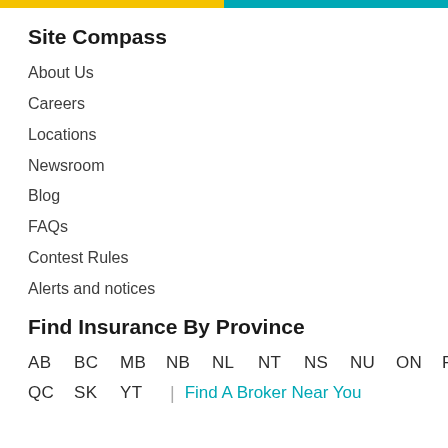Site Compass
About Us
Careers
Locations
Newsroom
Blog
FAQs
Contest Rules
Alerts and notices
Find Insurance By Province
AB  BC  MB  NB  NL  NT  NS  NU  ON  PE
QC  SK  YT  |  Find A Broker Near You